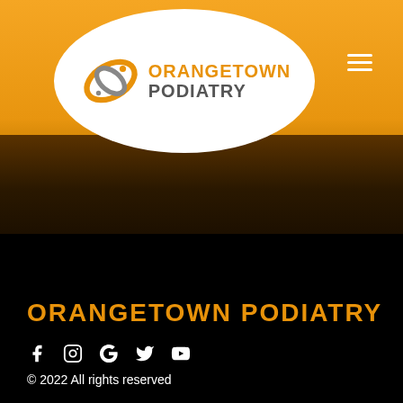[Figure (logo): Orangetown Podiatry logo: stylized OS swoosh icon in orange and gray, with text ORANGETOWN PODIATRY on white ellipse background]
ORANGETOWN PODIATRY
© 2022 All rights reserved